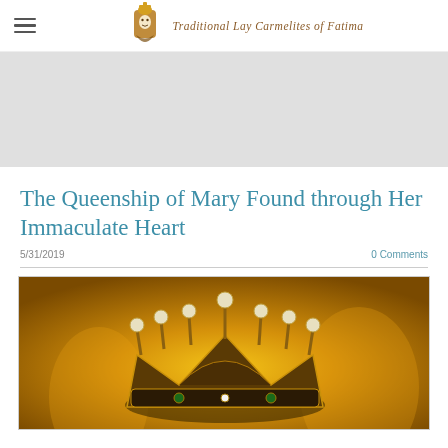Traditional Lay Carmelites of Fatima
[Figure (illustration): Gray hero banner placeholder image]
The Queenship of Mary Found through Her Immaculate Heart
5/31/2019
0 Comments
[Figure (photo): Painting of a golden crown with jewels and pearl-tipped prongs, set against a warm golden glowing background]